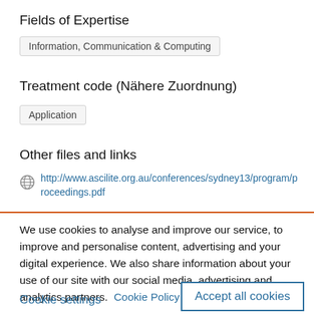Fields of Expertise
Information, Communication & Computing
Treatment code (Nähere Zuordnung)
Application
Other files and links
http://www.ascilite.org.au/conferences/sydney13/program/proceedings.pdf
We use cookies to analyse and improve our service, to improve and personalise content, advertising and your digital experience. We also share information about your use of our site with our social media, advertising and analytics partners.  Cookie Policy
Cookie settings
Accept all cookies